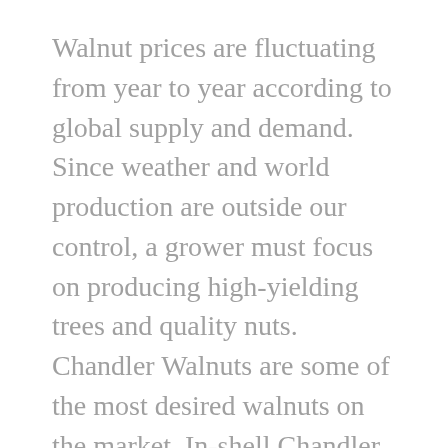Walnut prices are fluctuating from year to year according to global supply and demand. Since weather and world production are outside our control, a grower must focus on producing high-yielding trees and quality nuts. Chandler Walnuts are some of the most desired walnuts on the market. In-shell Chandler FOB prices have ranged in recent years from 2000 USD/t to 4500 USD/t. We us a price of 3500 USD/t in our models. You can follow live price updates for walnuts on Tridge.com